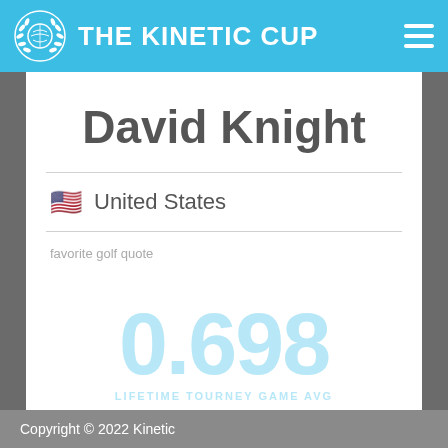THE KINETIC CUP
David Knight
🇺🇸  United States
favorite golf quote
"I never learned anything from a match that I won." -- Bobby Jones
0.698
LIFETIME TOURNEY GAME AVG
Copyright © 2022 Kinetic